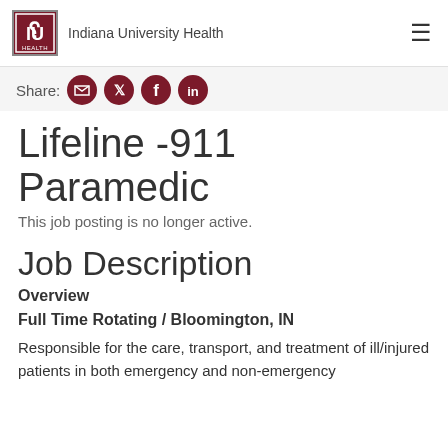Indiana University Health
Share:
Lifeline -911 Paramedic
This job posting is no longer active.
Job Description
Overview
Full Time Rotating / Bloomington, IN
Responsible for the care, transport, and treatment of ill/injured patients in both emergency and non-emergency